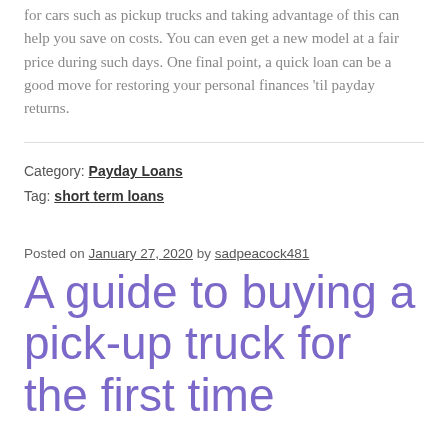for cars such as pickup trucks and taking advantage of this can help you save on costs. You can even get a new model at a fair price during such days. One final point, a quick loan can be a good move for restoring your personal finances 'til payday returns.
Category: Payday Loans
Tag: short term loans
Posted on January 27, 2020 by sadpeacock481
A guide to buying a pick-up truck for the first time